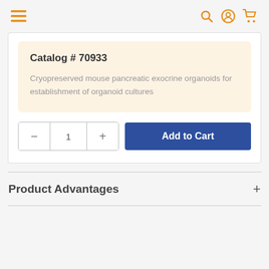Navigation bar with menu, search, account, and cart icons
Catalog # 70933
Cryopreserved mouse pancreatic exocrine organoids for establishment of organoid cultures
Add to Cart (quantity: 1)
Product Advantages